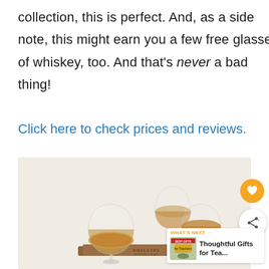collection, this is perfect. And, as a side note, this might earn you a few free glasses of whiskey, too. And that's never a bad thing!
Click here to check prices and reviews.
[Figure (photo): Four tulip-shaped whiskey tasting glasses on a wooden tray branded 'PHILLIPS DISTILLERY', partially filled with amber whiskey. Light background. A heart icon button and share icon button are overlaid on the right side. A 'WHAT'S NEXT' widget in the bottom right corner shows a thumbnail and text 'Thoughtful Gifts for Tea...']